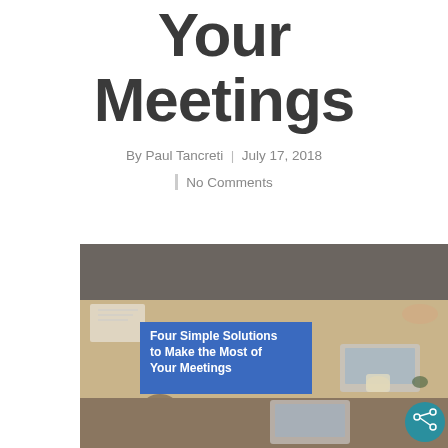Your Meetings
By Paul Tancreti | July 17, 2018
| No Comments
[Figure (photo): Top-down view of people sitting around a meeting table with laptops, phones, and documents. A blue overlay box reads: Four Simple Solutions to Make the Most of Your Meetings. A teal share button is in the bottom right.]